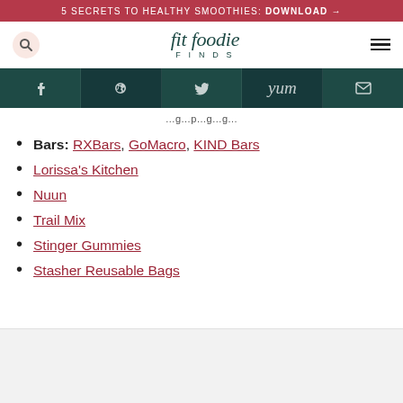5 SECRETS TO HEALTHY SMOOTHIES: DOWNLOAD →
[Figure (logo): Fit Foodie Finds logo with search icon and hamburger menu]
[Figure (infographic): Social share bar with Facebook, Pinterest, Twitter, Yummly, and Email icons on dark teal background]
...g...p...g...g...
Bars: RXBars, GoMacro, KIND Bars
Lorissa's Kitchen
Nuun
Trail Mix
Stinger Gummies
Stasher Reusable Bags